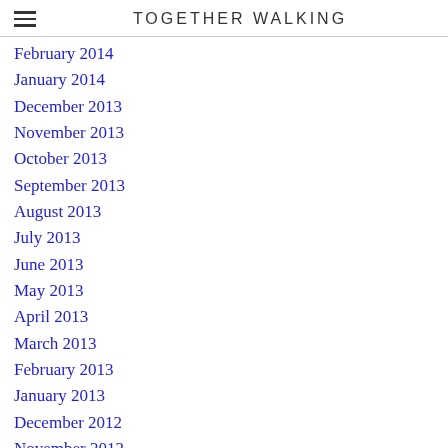TOGETHER WALKING
February 2014
January 2014
December 2013
November 2013
October 2013
September 2013
August 2013
July 2013
June 2013
May 2013
April 2013
March 2013
February 2013
January 2013
December 2012
November 2012
October 2012